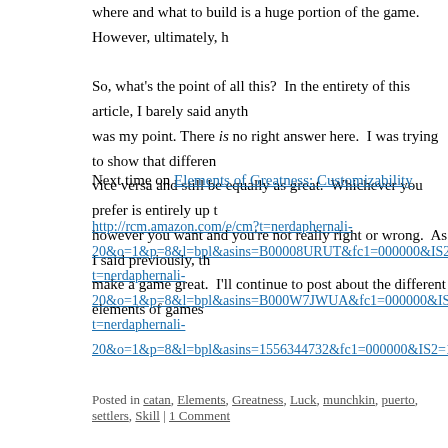where and what to build is a huge portion of the game.  However, ultimately, h... So, what's the point of all this?  In the entirety of this article, I barely said anyth... was my point. There is no right answer here.  I was trying to show that differen... vice versa and still be equally as great.  Whichever you prefer is entirely up t... however you want and you're not really right or wrong.  As I said previously, th... make a game great.  I'll continue to post about the different elements of games
Next time on Elements of Greatness: Customizability
http://rcm.amazon.com/e/cm?t=nerdaphernali-20&o=1&p=8&l=bpl&asins=B00008URUT&fc1=000000&IS2=1&lt1=_blank&m=a t=nerdaphernali-20&o=1&p=8&l=bpl&asins=B000W7JWUA&fc1=000000&IS2=1&lt1=_blank&m= t=nerdaphernali-20&o=1&p=8&l=bpl&asins=1556344732&fc1=000000&IS2=1&lt1=_blank&m=am
Posted in catan, Elements, Greatness, Luck, munchkin, puerto, settlers, Skill | 1 Comment